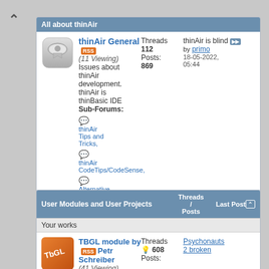All about thinAir
thinAir General (11 Viewing) Issues about thinAir development. thinAir is thinBasic IDE Sub-Forums: thinAir Tips and Tricks, thinAir CodeTips/CodeSense, Alternative IDEs
Threads 112 Posts: 869
thinAir is blind by primo 18-05-2022, 05:44
thinAir Themes Discuss and Share your thinAir themes
Threads 2 Posts: 13
Limitation by ErosOlmi 17-04-2020, 00:04
User Modules and User Projects Threads / Posts Last Post
Your works
TBGL module by Petr Schreiber (41 Viewing)
Threads 608 Posts:
Psychonauts 2 broken